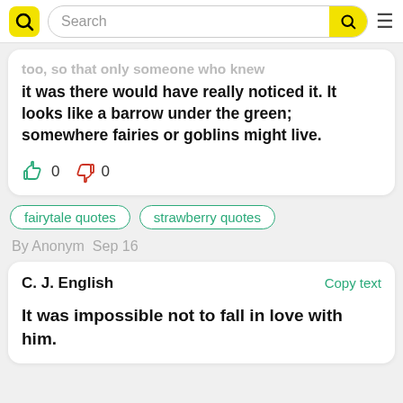Search
too, so that only someone who knew it was there would have really noticed it. It looks like a barrow under the green; somewhere fairies or goblins might live.
0  0
fairytale quotes
strawberry quotes
By Anonym  Sep 16
C. J. English
Copy text
It was impossible not to fall in love with him.